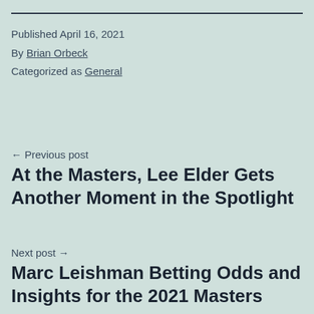Published April 16, 2021
By Brian Orbeck
Categorized as General
← Previous post
At the Masters, Lee Elder Gets Another Moment in the Spotlight
Next post →
Marc Leishman Betting Odds and Insights for the 2021 Masters